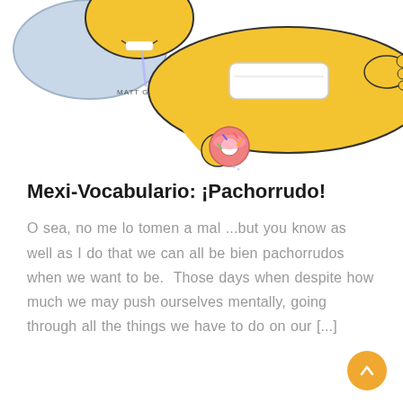[Figure (illustration): Cartoon illustration of Homer Simpson lying on his back drooling, holding a pink donut, wearing white underwear, with a pillow under his head. 'Matt Groening' signature visible. The figure is cropped at the top.]
Mexi-Vocabulario: ¡Pachorrudo!
O sea, no me lo tomen a mal ...but you know as well as I do that we can all be bien pachorrudos when we want to be.  Those days when despite how much we may push ourselves mentally, going through all the things we have to do on our [...]